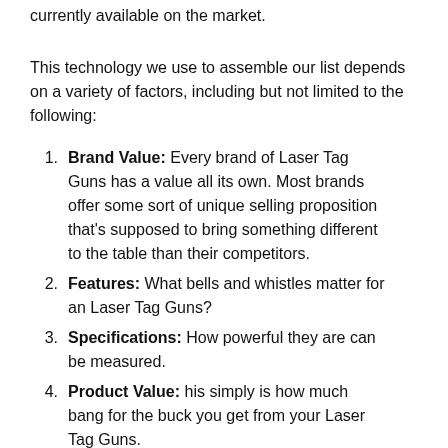currently available on the market.
This technology we use to assemble our list depends on a variety of factors, including but not limited to the following:
Brand Value: Every brand of Laser Tag Guns has a value all its own. Most brands offer some sort of unique selling proposition that's supposed to bring something different to the table than their competitors.
Features: What bells and whistles matter for an Laser Tag Guns?
Specifications: How powerful they are can be measured.
Product Value: his simply is how much bang for the buck you get from your Laser Tag Guns.
Customer Ratings: Number ratings grade Laser Tag Guns objectively.
Customer Reviews: Closely related to ratings, these...